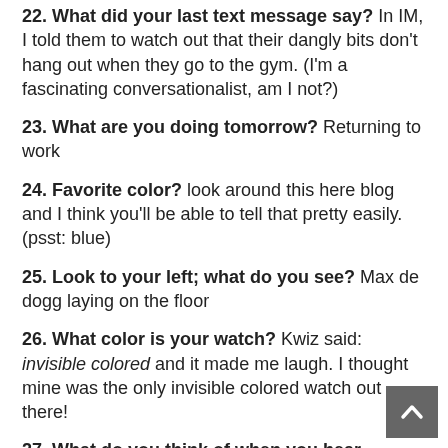22. What did your last text message say? In IM, I told them to watch out that their dangly bits don't hang out when they go to the gym. (I'm a fascinating conversationalist, am I not?)
23. What are you doing tomorrow? Returning to work
24. Favorite color? look around this here blog and I think you'll be able to tell that pretty easily. (psst: blue)
25. Look to your left; what do you see? Max de dogg laying on the floor
26. What color is your watch? Kwiz said: invisible colored and it made me laugh. I thought mine was the only invisible colored watch out there!
27. What do you think of when you hear “Australia”? Russell Crowe so I think about something else
28. Would you strip for money? Well, I'd have to say that the money would be ME paying someone to